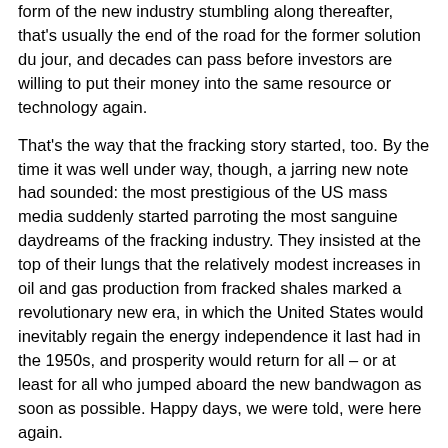form of the new industry stumbling along thereafter, that's usually the end of the road for the former solution du jour, and decades can pass before investors are willing to put their money into the same resource or technology again.
That's the way that the fracking story started, too. By the time it was well under way, though, a jarring new note had sounded: the most prestigious of the US mass media suddenly started parroting the most sanguine daydreams of the fracking industry. They insisted at the top of their lungs that the relatively modest increases in oil and gas production from fracked shales marked a revolutionary new era, in which the United States would inevitably regain the energy independence it last had in the 1950s, and prosperity would return for all – or at least for all who jumped aboard the new bandwagon as soon as possible. Happy days, we were told, were here again.
What made this barrage of propaganda all the more fascinating was the immense gaps that separated it from the realities on and under the ground in Pennsylvania and North Dakota. The drastic depletion rates from fracked wells rarely got a mention, and the